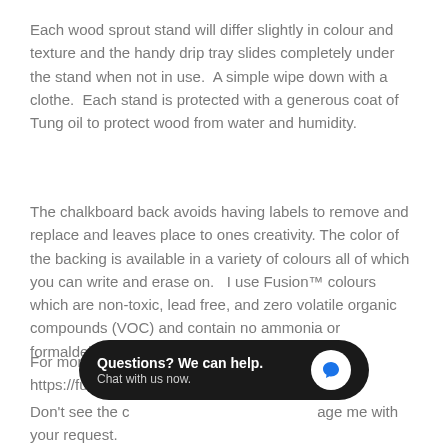Each wood sprout stand will differ slightly in colour and texture and the handy drip tray slides completely under the stand when not in use.  A simple wipe down with a clothe.  Each stand is protected with a generous coat of Tung oil to protect wood from water and humidity.
The chalkboard back avoids having labels to remove and replace and leaves place to ones creativity. The color of the backing is available in a variety of colours all of which you can write and erase on.   I use Fusion™ colours which are non-toxic, lead free, and zero volatile organic compounds (VOC) and contain no ammonia or formaldehyde.
For more info on paint colors visit : https://fusionmineralpaint.com/colours/
Don't see the c[olor you want]age me with your request.
[Figure (screenshot): Chat widget overlay with black rounded rectangle containing 'Questions? We can help.' and 'Chat with us now.' text, with a white circle containing a blue speech bubble icon on the right.]